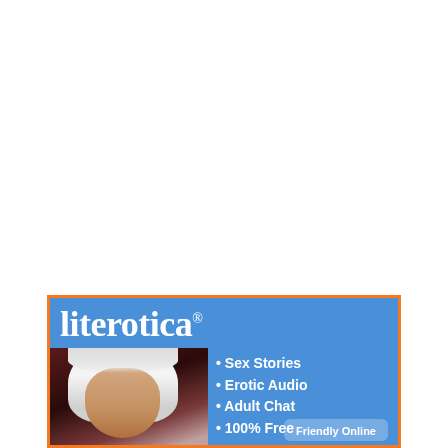[Figure (illustration): Advertisement banner for Literotica website with blue background and orange border. Shows white-haired woman on left side. Blue header with 'literotica®' logo text. Bullet points listing: Sex Stories, Erotic Audio, Adult Chat, 100% Free. Partial button at bottom reading 'Friendly Online'.]